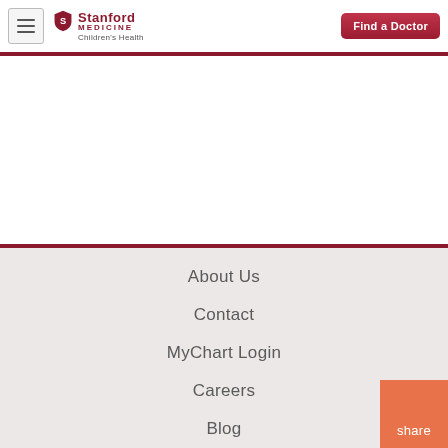[Figure (logo): Stanford Medicine Children's Health logo with shield icon]
Find a Doctor
About Us
Contact
MyChart Login
Careers
Blog
share